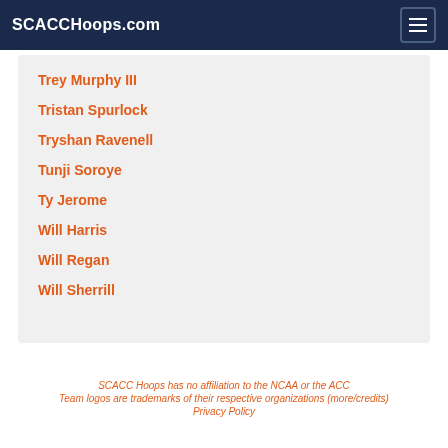SCACCHoops.com
Trey Murphy III
Tristan Spurlock
Tryshan Ravenell
Tunji Soroye
Ty Jerome
Will Harris
Will Regan
Will Sherrill
SCACC Hoops has no affiliation to the NCAA or the ACC
Team logos are trademarks of their respective organizations (more/credits)
Privacy Policy